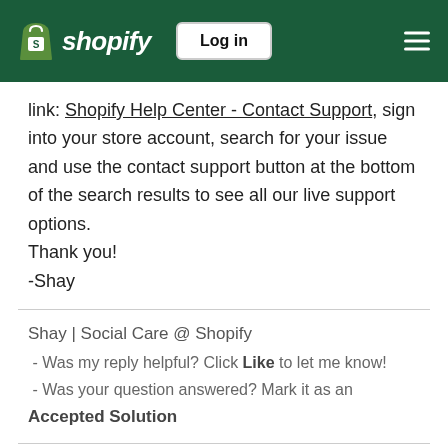Shopify header with logo, Log in button, and menu
link: Shopify Help Center - Contact Support, sign into your store account, search for your issue and use the contact support button at the bottom of the search results to see all our live support options.
Thank you!
-Shay
Shay | Social Care @ Shopify
 - Was my reply helpful? Click Like to let me know!
 - Was your question answered? Mark it as an Accepted Solution